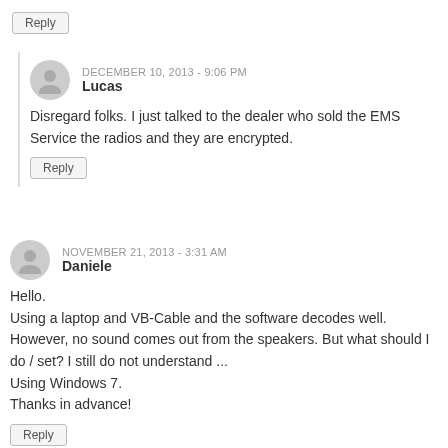Reply
DECEMBER 10, 2013 - 9:06 PM
Lucas
Disregard folks. I just talked to the dealer who sold the EMS Service the radios and they are encrypted.
Reply
NOVEMBER 21, 2013 - 3:31 AM
Daniele
Hello.
Using a laptop and VB-Cable and the software decodes well. However, no sound comes out from the speakers. But what should I do / set? I still do not understand ...
Using Windows 7.
Thanks in advance!
Reply